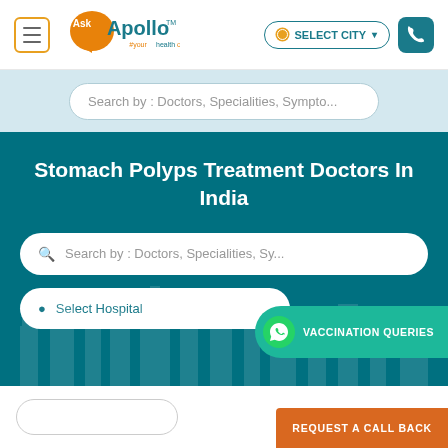[Figure (logo): Ask Apollo logo with orange speech bubble and '#yourhealthonline' tagline]
SELECT CITY
Search by : Doctors, Specialities, Sympto...
Stomach Polyps Treatment Doctors In India
Search by : Doctors, Specialities, Sy...
Select Hospital
VACCINATION QUERIES
REQUEST A CALL BACK